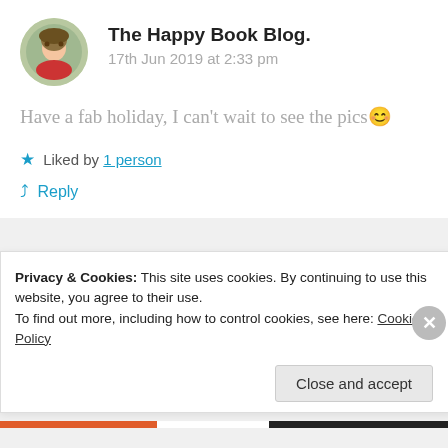The Happy Book Blog.
17th Jun 2019 at 2:33 pm
Have a fab holiday, I can’t wait to see the pics 😊
Liked by 1 person
Reply
Covert Novelist
18th Jun 2019 at 2:25 pm
Privacy & Cookies: This site uses cookies. By continuing to use this website, you agree to their use. To find out more, including how to control cookies, see here: Cookie Policy
Close and accept